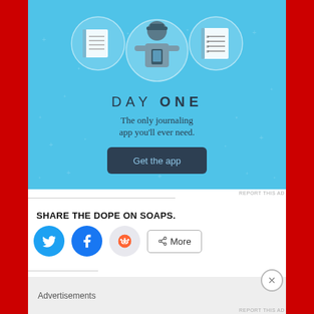[Figure (illustration): Day One journaling app advertisement banner with light blue background, showing three icons (notebook, person using phone, checklist) and text 'DAY ONE - The only journaling app you'll ever need.' with a 'Get the app' button.]
REPORT THIS AD
SHARE THE DOPE ON SOAPS.
[Figure (infographic): Social share buttons row: Twitter (blue bird), Facebook (blue f), Reddit (alien), and a 'More' button with share icon.]
Advertisements
REPORT THIS AD